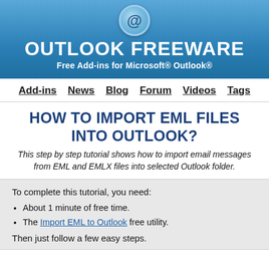[Figure (logo): Outlook Freeware header banner with @ icon, site name and tagline]
Add-ins  News  Blog  Forum  Videos  Tags
HOW TO IMPORT EML FILES INTO OUTLOOK?
This step by step tutorial shows how to import email messages from EML and EMLX files into selected Outlook folder.
To complete this tutorial, you need:
About 1 minute of free time.
The Import EML to Outlook free utility.
Then just follow a few easy steps.